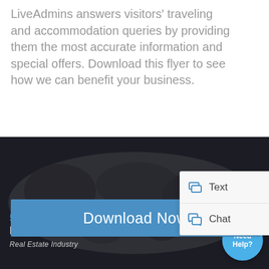LiveAdmins answers visitors' traveling and accommodation queries by providing them the most accurate information and special offers. Download this flyer to see how we can benefit your business.
[Figure (screenshot): A blue 'Download Now' button with a chat widget popup showing 'Text' and 'Chat' options with icons.]
[Figure (infographic): Dark banner with world map silhouette. Text: '5 SECRETS OF LIVE CHAT THAT NO ONE TELLS YOU ABOUT' in blue and white bold uppercase, subtitle 'Real Estate Industry'. A 'Need Help?' chat bubble in blue on the bottom right.]